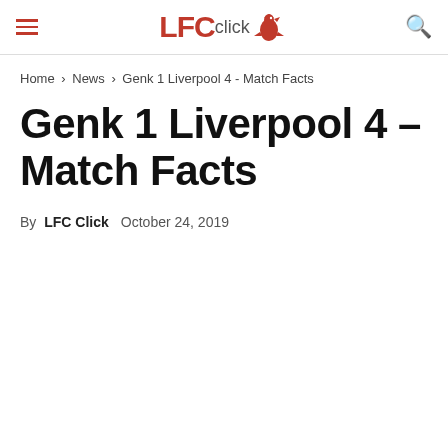LFCclick
Home › News › Genk 1 Liverpool 4 - Match Facts
Genk 1 Liverpool 4 – Match Facts
By LFC Click   October 24, 2019